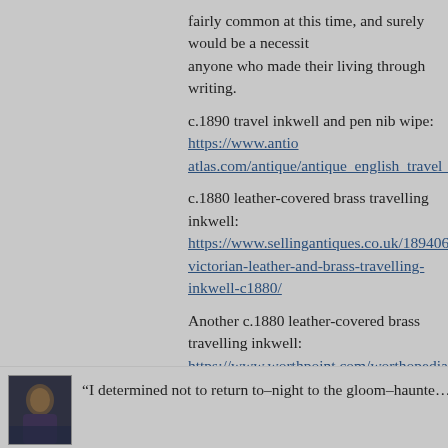fairly common at this time, and surely would be a necessity for anyone who made their living through writing.
c.1890 travel inkwell and pen nib wipe: https://www.antioatlas.com/antique/antique_english_travel_inkwell_pen_...
c.1880 leather-covered brass travelling inkwell: https://www.sellingantiques.co.uk/189406/handsome-victorian-leather-and-brass-travelling-inkwell-c1880/
Another c.1880 leather-covered brass travelling inkwell: https://www.worthpoint.com/worthopedia/antique-travell-inkwell-campaign-541896526
Victorian leather-covered brass travelling inkwell: https://www.worthpoint.com/worthopedia/antique-victori-travelling-inkwell-1777477067
Posted by: Most Significant | May 16, 2022 at 05:03 AM
“I determined not to return to–night to the gloom–haunted ...